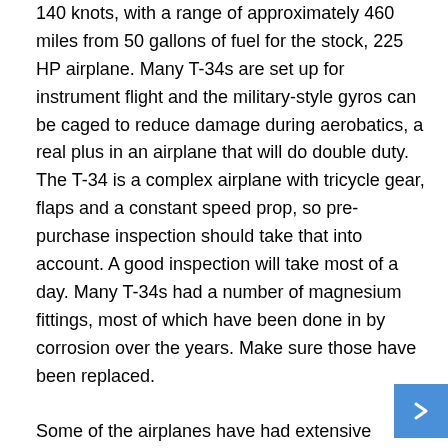140 knots, with a range of approximately 460 miles from 50 gallons of fuel for the stock, 225 HP airplane. Many T-34s are set up for instrument flight and the military-style gyros can be caged to reduce damage during aerobatics, a real plus in an airplane that will do double duty. The T-34 is a complex airplane with tricycle gear, flaps and a constant speed prop, so pre-purchase inspection should take that into account. A good inspection will take most of a day. Many T-34s had a number of magnesium fittings, most of which have been done in by corrosion over the years. Make sure those have been replaced.

Some of the airplanes have had extensive rebuilds, the recency and quality of the rebuild, along with any engine conversion, determines the price. Age is not important in the price, which leads us to the airplanes chief downside: Being a warbird, prices are inflated. Even Mentors in poor condition might fetch $115,000, according to Vref. Good restorations